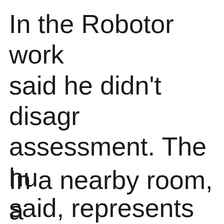In the Robotor work said he didn't disagr assessment. The hu said, represents jus work, but is essentia
In a nearby room, a human sculptors we